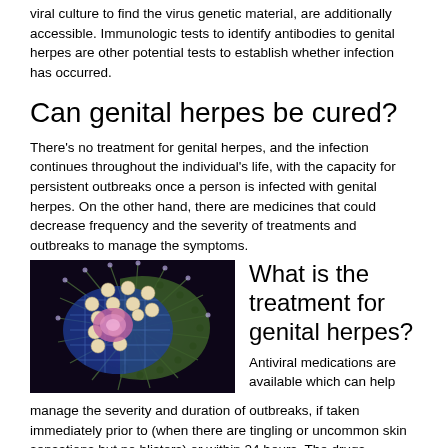viral culture to find the virus genetic material, are additionally accessible. Immunologic tests to identify antibodies to genital herpes are other potential tests to establish whether infection has occurred.
Can genital herpes be cured?
There's no treatment for genital herpes, and the infection continues throughout the individual's life, with the capacity for persistent outbreaks once a person is infected with genital herpes. On the other hand, there are medicines that could decrease frequency and the severity of treatments and outbreaks to manage the symptoms.
[Figure (illustration): Cross-section illustration of a herpes virus particle showing internal structure with DNA core, capsid, and spiky envelope on dark background]
What is the treatment for genital herpes?
Antiviral medications are available which can help manage the severity and duration of outbreaks, if taken immediately prior to (when there are tingling or uncommon skin sensations but no blisters) or within 24 hours. The drugs